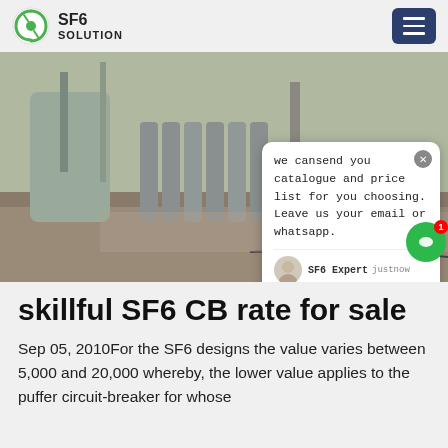SF6 SOLUTION
[Figure (photo): Photo of SF6 gas cylinders and industrial equipment at an outdoor electrical substation, with a chat popup overlay showing a message from SF6 Expert]
skillful SF6 CB rate for sale
Sep 05, 2010For the SF6 designs the value varies between 5,000 and 20,000 whereby, the lower value applies to the puffer circuit-breaker for whose